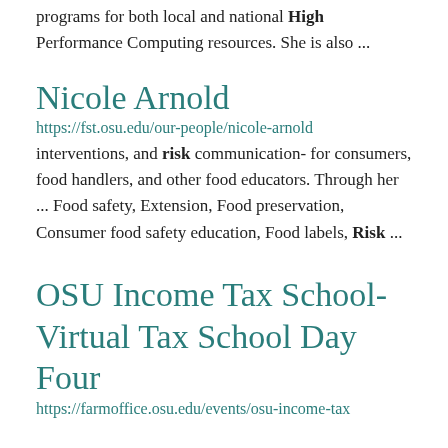programs for both local and national High Performance Computing resources. She is also ...
Nicole Arnold
https://fst.osu.edu/our-people/nicole-arnold
interventions, and risk communication- for consumers, food handlers, and other food educators. Through her ... Food safety, Extension, Food preservation, Consumer food safety education, Food labels, Risk ...
OSU Income Tax School- Virtual Tax School Day Four
https://farmoffice.osu.edu/events/osu-income-tax